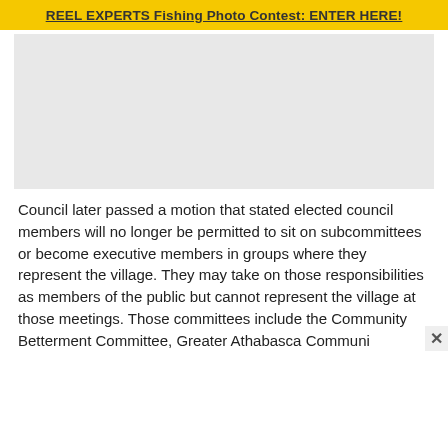REEL EXPERTS Fishing Photo Contest: ENTER HERE!
[Figure (other): Advertisement placeholder — light gray rectangle]
Council later passed a motion that stated elected council members will no longer be permitted to sit on subcommittees or become executive members in groups where they represent the village. They may take on those responsibilities as members of the public but cannot represent the village at those meetings. Those committees include the Community Betterment Committee, Greater Athabasca Communi